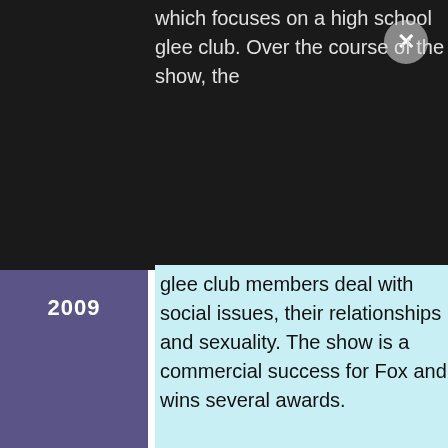which focuses on a high school glee club. Over the course of the show, the glee club members deal with social issues, their relationships and sexuality. The show is a commercial success for Fox and wins several awards.